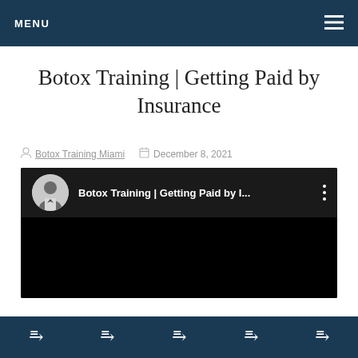MENU
Botox Training | Getting Paid by Insurance
Botox Training Miami  December 8, 2021
[Figure (screenshot): YouTube video thumbnail showing 'Botox Training | Getting Paid by I...' with a circular avatar of a man in a suit and three vertical dots menu icon, black background below]
Navigation icons bar at bottom